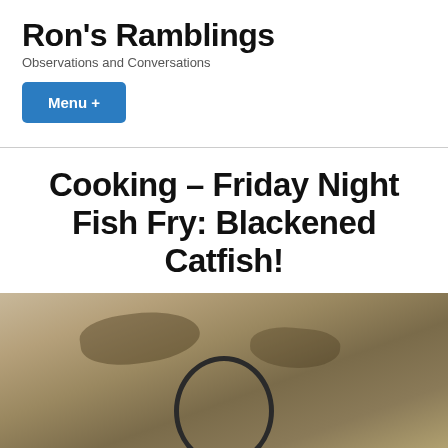Ron's Ramblings
Observations and Conversations
Menu +
Cooking – Friday Night Fish Fry: Blackened Catfish!
Rate This
[Figure (photo): Photo of a cast iron skillet on a marbled countertop surface, viewed from above, showing the handle area of the pan against a beige/tan stone background]